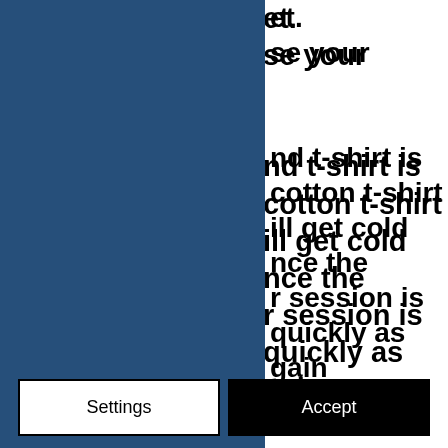[Figure (screenshot): Partial webpage screenshot with a large dark blue rectangle on the left half and partially visible bold text on the right side of the upper portion, clipped by the page boundary. Visible text fragments include 'et.', 'se your', 'nd t-shirt is', 'cotton t-shirt', 'ill get cold', 'nce the', 'r session is', 'quickly as', 'gain'.]
By using this website, you agree to our use of cookies. We use cookies to provide you with a great experience and to help our website run effectively.
Privacy Policy
Settings
Accept